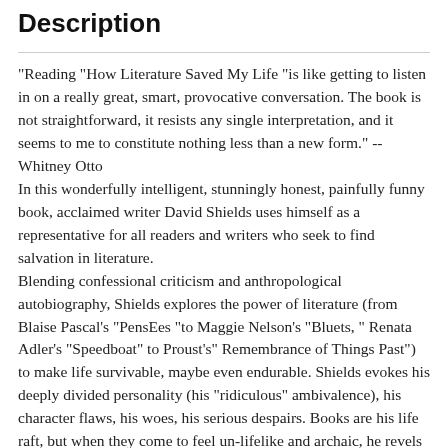Description
"Reading "How Literature Saved My Life "is like getting to listen in on a really great, smart, provocative conversation. The book is not straightforward, it resists any single interpretation, and it seems to me to constitute nothing less than a new form." -- Whitney Otto
In this wonderfully intelligent, stunningly honest, painfully funny book, acclaimed writer David Shields uses himself as a representative for all readers and writers who seek to find salvation in literature.
Blending confessional criticism and anthropological autobiography, Shields explores the power of literature (from Blaise Pascal's "PensEes "to Maggie Nelson's "Bluets, " Renata Adler's "Speedboat" to Proust's" Remembrance of Things Past") to make life survivable, maybe even endurable. Shields evokes his deeply divided personality (his "ridiculous" ambivalence), his character flaws, his woes, his serious despairs. Books are his life raft, but when they come to feel un-lifelike and archaic, he revels in a new kind of art that is based heavily on quotation and consciousness. And he shares with us a final irony: he wants "literature to assuage human loneliness, but nothing can assuage human loneliness. Literature can't do that. It can't do that."